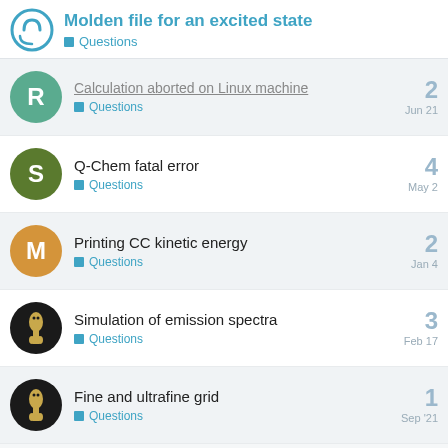Molden file for an excited state — Questions
Calculation aborted on Linux machine — Questions — 2 — Jun 21
Q-Chem fatal error — Questions — 4 — May 2
Printing CC kinetic energy — Questions — 2 — Jan 4
Simulation of emission spectra — Questions — 3 — Feb 17
Fine and ultrafine grid — Questions — 1 — Sep '21
Want to read more? Browse other topics in Questions or view latest topics.